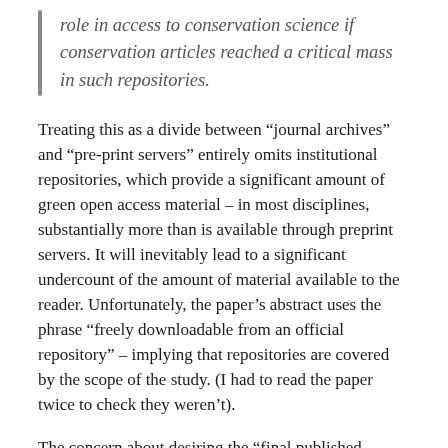role in access to conservation science if conservation articles reached a critical mass in such repositories.
Treating this as a divide between “journal archives” and “pre-print servers” entirely omits institutional repositories, which provide a significant amount of green open access material – in most disciplines, substantially more than is available through preprint servers. It will inevitably lead to a significant undercount of the amount of material available to the reader. Unfortunately, the paper’s abstract uses the phrase “freely downloadable from an official repository” – implying that repositories are covered by the scope of the study. (I had to read the paper twice to check they weren’t).
The concern about desiring the “final published